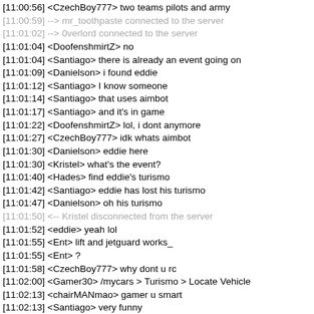[11:00:56] <CzechBoy777> two teams pilots and army
[11:00:59] --> mr_toothpaste connected to the server
[11:01:02] --> 0verlord connected to the server
[11:01:04] <DoofenshmirtZ> no
[11:01:04] <Santiago> there is already an event going on
[11:01:09] <Danielson> i found eddie
[11:01:12] <Santiago> I know someone
[11:01:14] <Santiago> that uses aimbot
[11:01:17] <Santiago> and it's in game
[11:01:22] <DoofenshmirtZ> lol, i dont anymore
[11:01:27] <CzechBoy777> idk whats aimbot
[11:01:30] <Danielson> eddie here
[11:01:30] <Kristel> what's the event?
[11:01:40] <Hades> find eddie's turismo
[11:01:42] <Santiago> eddie has lost his turismo
[11:01:47] <Danielson> oh his turismo
[11:01:50] <-- Kristel disconnected from the server
[11:01:52] <eddie> yeah lol
[11:01:55] <Ent> lift and jetguard works_
[11:01:55] <Ent> ?
[11:01:58] <CzechBoy777> why dont u rc
[11:02:00] <Gamer30> /mycars > Turismo > Locate Vehicle
[11:02:13] <chairMANmao> gamer u smart
[11:02:13] <Santiago> very funny
[11:02:25] <Hades> eddie i found your fbi rancher!